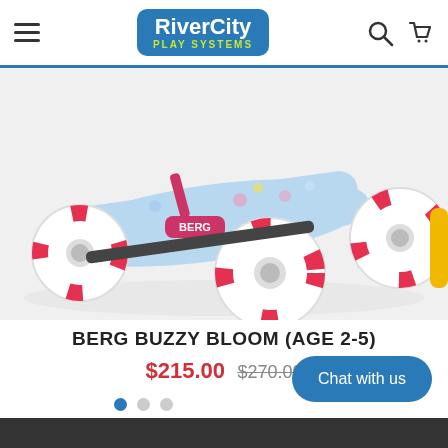RiverCity Play Systems
[Figure (photo): BERG Buzzy Bloom go-kart with red and white wheels and light blue floral-patterned body, shown from a low front angle against a white background. A partially visible yellow kart is at the right edge.]
BERG BUZZY BLOOM (AGE 2-5)
$215.00  $270.00
Chat with us